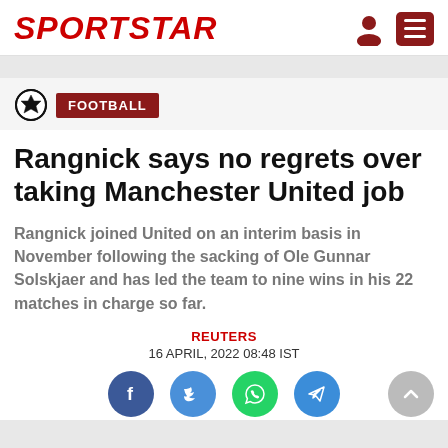SPORTSTAR
FOOTBALL
Rangnick says no regrets over taking Manchester United job
Rangnick joined United on an interim basis in November following the sacking of Ole Gunnar Solskjaer and has led the team to nine wins in his 22 matches in charge so far.
REUTERS
16 APRIL, 2022 08:48 IST